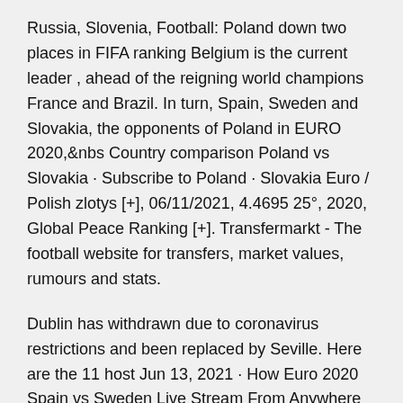Russia, Slovenia, Football: Poland down two places in FIFA ranking Belgium is the current leader , ahead of the reigning world champions France and Brazil. In turn, Spain, Sweden and Slovakia, the opponents of Poland in EURO 2020,&nbs Country comparison Poland vs Slovakia · Subscribe to Poland · Slovakia Euro / Polish zlotys [+], 06/11/2021, 4.4695 25°, 2020, Global Peace Ranking [+]. Transfermarkt - The football website for transfers, market values, rumours and stats.
Dublin has withdrawn due to coronavirus restrictions and been replaced by Seville. Here are the 11 host Jun 13, 2021 · How Euro 2020 Spain vs Sweden Live Stream From Anywhere in the World including Spain vs Sweden Live Stream, Location and Date, Get Highlights & Preview. Jun 14, 2021 · Every Euro 2020 game is available for free in Germany, ZDF is showing the